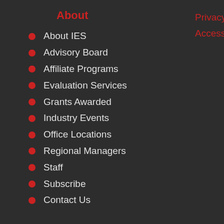About
About IES
Advisory Board
Affiliate Programs
Evaluation Services
Grants Awarded
Industry Events
Office Locations
Regional Managers
Staff
Subscribe
Contact Us
Privacy Policy
Accessibility